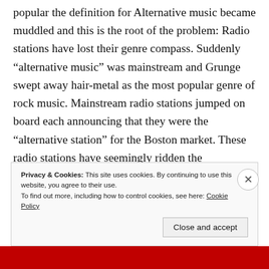popular the definition for Alternative music became muddled and this is the root of the problem: Radio stations have lost their genre compass. Suddenly “alternative music” was mainstream and Grunge swept away hair-metal as the most popular genre of rock music. Mainstream radio stations jumped on board each announcing that they were the “alternative station” for the Boston market. These radio stations have seemingly ridden the “Alternative” wave for so long that they forget where they came from and are afraid to move
Privacy & Cookies: This site uses cookies. By continuing to use this website, you agree to their use.
To find out more, including how to control cookies, see here: Cookie Policy